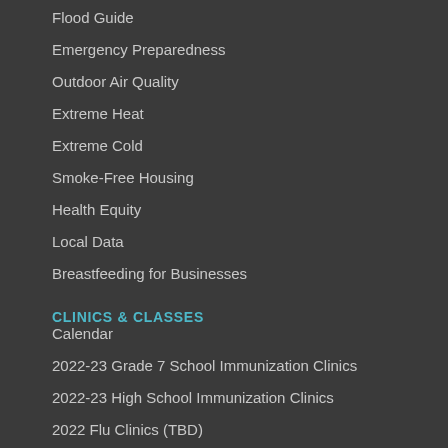Flood Guide
Emergency Preparedness
Outdoor Air Quality
Extreme Heat
Extreme Cold
Smoke-Free Housing
Health Equity
Local Data
Breastfeeding for Businesses
CLINICS & CLASSES
Calendar
2022-23 Grade 7 School Immunization Clinics
2022-23 High School Immunization Clinics
2022 Flu Clinics (TBD)
Breastfeeding Clinics (on hold)
Online Prenatal & New Parent Program
Food Safety Training & Certification